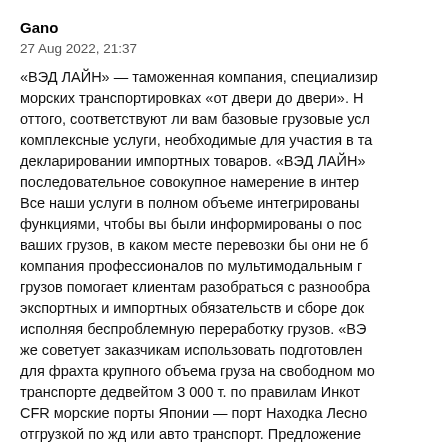Gano
27 Aug 2022, 21:37
«ВЭД ЛАЙН» — таможенная компания, специализир... морских транспортировках «от двери до двери». Н... оттого, соответствуют ли вам базовые грузовые усл... комплексные услуги, необходимые для участия в та... декларировании импортных товаров. «ВЭД ЛАЙН»... последовательное совокупное намерение в интере... Все наши услуги в полном объеме интегрированы... функциями, чтобы вы были информированы о пос... ваших грузов, в каком месте перевозки бы они не б... компания профессионалов по мультимодальным г... грузов помогает клиентам разобраться с разнообра... экспортных и импортных обязательств и сборе до... исполняя беспроблемную переработку грузов. «ВЭ... же советует заказчикам использовать подготовлен... для фрахта крупного объема груза на свободном мо... транспорте дедвейтом 3 000 т. по правилам Инкот... CFR морские порты Японии — порт Находка Лесно... отгрузкой по жд или авто транспорт. Предложение...